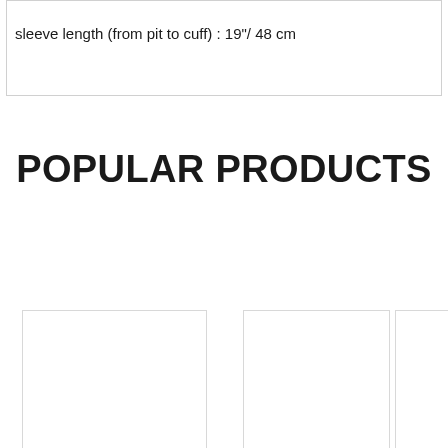sleeve length (from pit to cuff) : 19"/ 48 cm
POPULAR PRODUCTS
[Figure (other): Three product image placeholders arranged in a row, partially visible white rectangles with light gray borders]